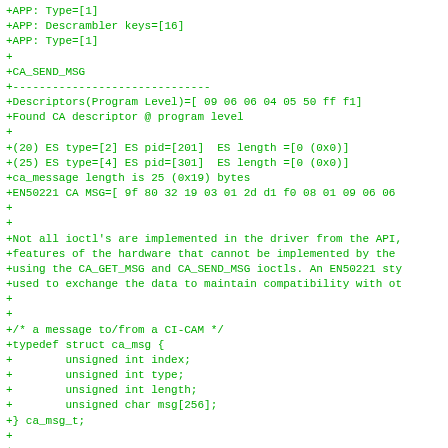+APP: Type=[1]
+APP: Descrambler keys=[16]
+APP: Type=[1]
+
+CA_SEND_MSG
+------------------------------
+Descriptors(Program Level)=[ 09 06 06 04 05 50 ff f1]
+Found CA descriptor @ program level
+
+(20) ES type=[2] ES pid=[201]  ES length =[0 (0x0)]
+(25) ES type=[4] ES pid=[301]  ES length =[0 (0x0)]
+ca_message length is 25 (0x19) bytes
+EN50221 CA MSG=[ 9f 80 32 19 03 01 2d d1 f0 08 01 09 06 06
+
+
+Not all ioctl's are implemented in the driver from the API,
+features of the hardware that cannot be implemented by the
+using the CA_GET_MSG and CA_SEND_MSG ioctls. An EN50221 sty
+used to exchange the data to maintain compatibility with ot
+
+
+/* a message to/from a CI-CAM */
+typedef struct ca_msg {
+        unsigned int index;
+        unsigned int type;
+        unsigned int length;
+        unsigned char msg[256];
+} ca_msg_t;
+
+
+The flow of data can be described thus,
+